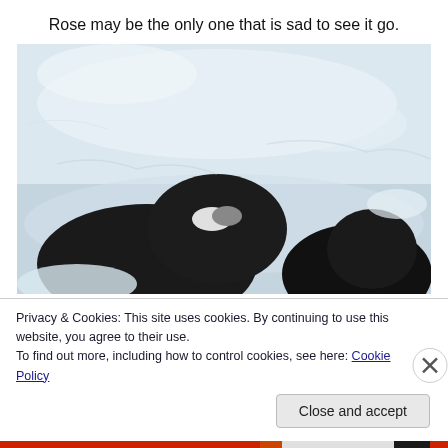Rose may be the only one that is sad to see it go.
[Figure (photo): Two black and white dogs viewed from above, lying in snow. The image shows the tops of their heads against a bright snowy background.]
Privacy & Cookies: This site uses cookies. By continuing to use this website, you agree to their use.
To find out more, including how to control cookies, see here: Cookie Policy
Close and accept